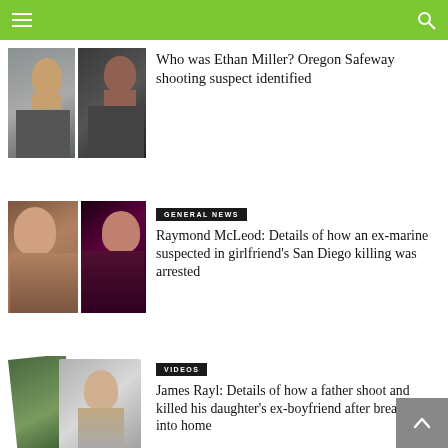Navigation bar with menu and search icons
[Figure (photo): Photo collage of Ethan Miller — two photos side by side]
Who was Ethan Miller? Oregon Safeway shooting suspect identified
[Figure (photo): Photo collage of Raymond McLeod — two photos side by side]
GENERAL NEWS
Raymond McLeod: Details of how an ex-marine suspected in girlfriend's San Diego killing was arrested
[Figure (photo): Photo collage of James Rayl — two overlapping photos]
VIDEOS
James Rayl: Details of how a father shoot and killed his daughter's ex-boyfriend after breaking into home